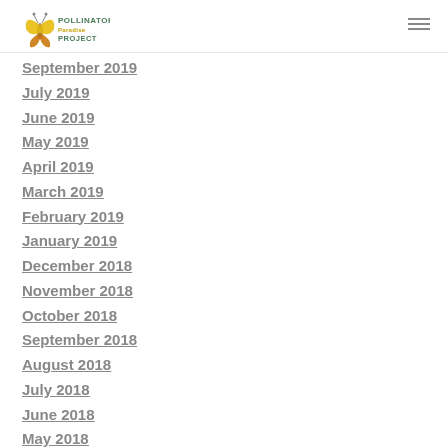Pollinators Paradise Project logo and navigation
r 2019 (partial)
019 (partial)
September 2019
July 2019
June 2019
May 2019
April 2019
March 2019
February 2019
January 2019
December 2018
November 2018
October 2018
September 2018
August 2018
July 2018
June 2018
May 2018
April 2018 (partial)